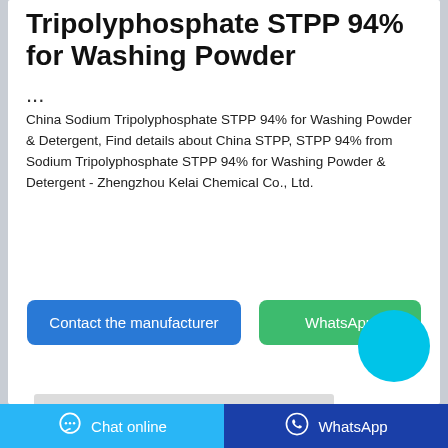Tripolyphosphate STPP 94% for Washing Powder
...
China Sodium Tripolyphosphate STPP 94% for Washing Powder & Detergent, Find details about China STPP, STPP 94% from Sodium Tripolyphosphate STPP 94% for Washing Powder & Detergent - Zhengzhou Kelai Chemical Co., Ltd.
[Figure (screenshot): Two buttons: 'Contact the manufacturer' (blue) and 'WhatsApp' (green), with a cyan circular chat bubble icon overlapping the right side]
[Figure (screenshot): Grey placeholder bar/image area]
Chat online   WhatsApp